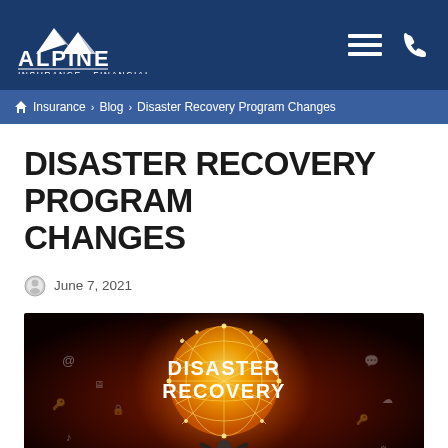ALPINE INSURANCE · FINANCIAL
Insurance › Blog › Disaster Recovery Program Changes
DISASTER RECOVERY PROGRAM CHANGES
June 7, 2021
[Figure (photo): Dark themed image with a glowing yellow-orange network sphere in the center with text 'DISASTER RECOVERY' overlaid in white capital letters, surrounded by various digital icons on a dark red/black gradient background. A person's silhouette is visible at the bottom.]